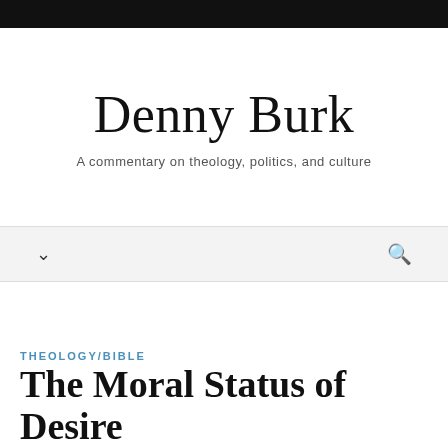Denny Burk
A commentary on theology, politics, and culture
THEOLOGY/BIBLE
The Moral Status of Desire